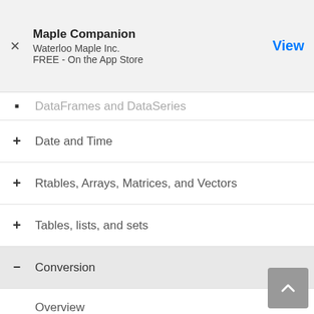Maple Companion
Waterloo Maple Inc.
FREE - On the App Store
DataFrames and DataSeries
Date and Time
Rtables, Arrays, Matrices, and Vectors
Tables, lists, and sets
Conversion
Overview
`*`
`+`
abs
Ai